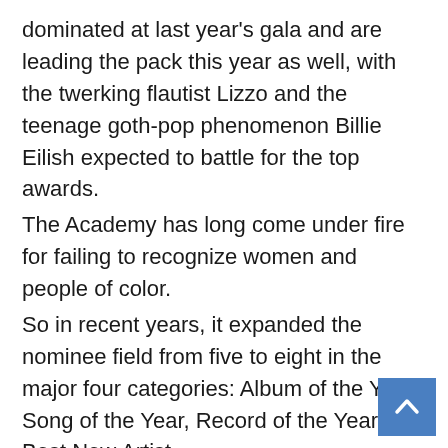dominated at last year's gala and are leading the pack this year as well, with the twerking flautist Lizzo and the teenage goth-pop phenomenon Billie Eilish expected to battle for the top awards. The Academy has long come under fire for failing to recognize women and people of color. So in recent years, it expanded the nominee field from five to eight in the major four categories: Album of the Year, Song of the Year, Record of the Year and Best New Artist. Both Lizzo and Eilish are nominated for all of the “big four” prizes. Other female frontrunners vying for Grammys gold include Lana Del Rey — whose 2019 album was considered by many critics as the best of the year — and R&B prodigy H.E.R., who is up for five awards and last year won two. Pop sensation Ariana Grande is also among the top nominees, while flamenco revivalist Rosalia, up for Best
[Figure (other): Scroll-to-top button: blue square with white upward-pointing chevron/arrow]